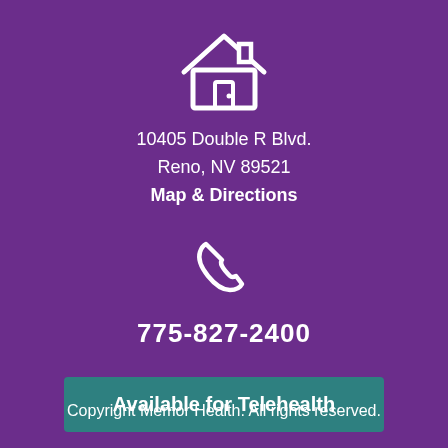[Figure (illustration): White outline icon of a house with a door, centered on purple background]
10405 Double R Blvd.
Reno, NV 89521
Map & Directions
[Figure (illustration): White outline icon of a telephone handset, centered on purple background]
775-827-2400
Available for Telehealth
Copyright Memor Health. All rights reserved.